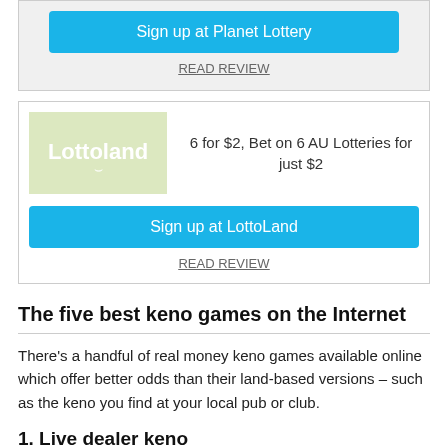[Figure (logo): Blue button: Sign up at Planet Lottery, followed by READ REVIEW link]
[Figure (logo): Lottoland logo on green background with offer text: 6 for $2, Bet on 6 AU Lotteries for just $2, Sign up at LottoLand button, and READ REVIEW link]
The five best keno games on the Internet
There's a handful of real money keno games available online which offer better odds than their land-based versions – such as the keno you find at your local pub or club.
1. Live dealer keno